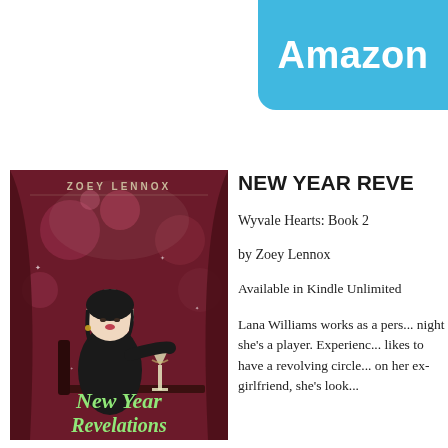[Figure (logo): Amazon button - blue rounded rectangle with white bold text 'Amazon']
[Figure (illustration): Book cover for 'New Year Revelations' by Zoey Lennox. Dark red/burgundy background with bokeh lights and curtains. A woman in a black dress with dark hair sits at a table with a champagne glass. Title in green cursive script at the bottom.]
NEW YEAR REVE...
Wyvale Hearts: Book 2
by Zoey Lennox
Available in Kindle Unlimited
Lana Williams works as a pers... night she's a player. Experienc... likes to have a revolving circle... on her ex-girlfriend, she's look...